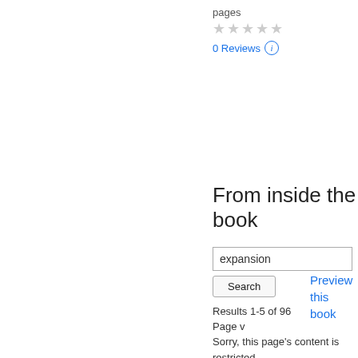pages
★★★★★
0 Reviews ⓘ
Preview this book
From inside the book
expansion
Search
Results 1-5 of 96
Page v
Sorry, this page's content is restricted.
Page xiii
Early agitation a preferential tariff : the Fair Trade League